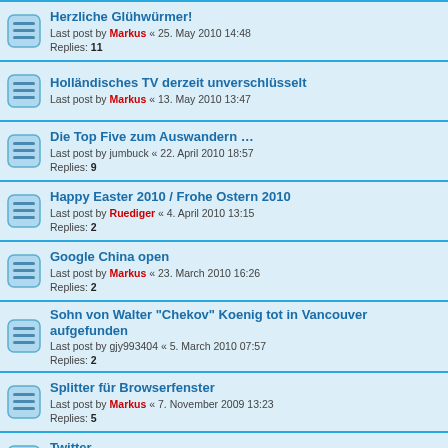Herzliche Glühwürmer! — Last post by Markus « 25. May 2010 14:48 — Replies: 11
Holländisches TV derzeit unverschlüsselt — Last post by Markus « 13. May 2010 13:47
Die Top Five zum Auswandern … — Last post by jumbuck « 22. April 2010 18:57 — Replies: 9
Happy Easter 2010 / Frohe Ostern 2010 — Last post by Ruediger « 4. April 2010 13:15 — Replies: 2
Google China open — Last post by Markus « 23. March 2010 16:26 — Replies: 2
Sohn von Walter "Chekov" Koenig tot in Vancouver aufgefunden — Last post by gjy993404 « 5. March 2010 07:57 — Replies: 2
Splitter für Browserfenster — Last post by Markus « 7. November 2009 13:23 — Replies: 5
Twitter — Last post by Markus « 25. October 2009 15:10 — Replies: 2
New Topic | sort button | 72 topics — page 1 2 3 next